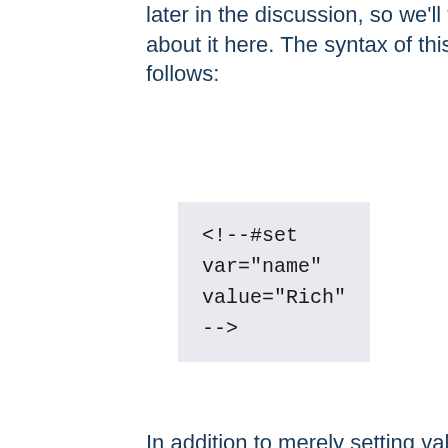later in the discussion, so we'll talk about it here. The syntax of this is as follows:
In addition to merely setting values literally like that, you can use any other variable, including environment variables or the variables discussed above (like LAST_MODIFIED, for example) to give values to your variables. You will specify that something is a variable, rather than a literal string, by using the dollar sign ($) before the name of the variable.